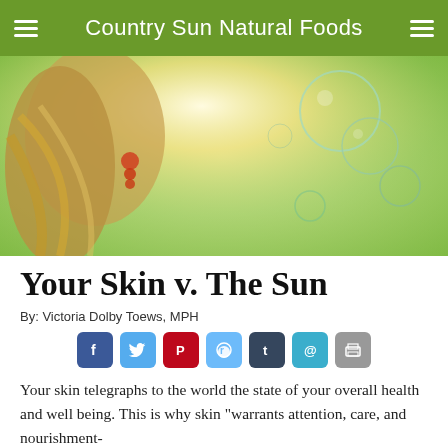Country Sun Natural Foods
[Figure (photo): A woman with flowing hair in sunlight with colorful bubbles and warm golden-green light, representing skin and sun theme.]
Your Skin v. The Sun
By: Victoria Dolby Toews, MPH
[Figure (infographic): Social sharing icons: Facebook, Twitter, Pinterest, Reddit, Tumblr, Email, Print]
Your skin telegraphs to the world the state of your overall health and well being. This is why skin "warrants attention, care, and nourishment-